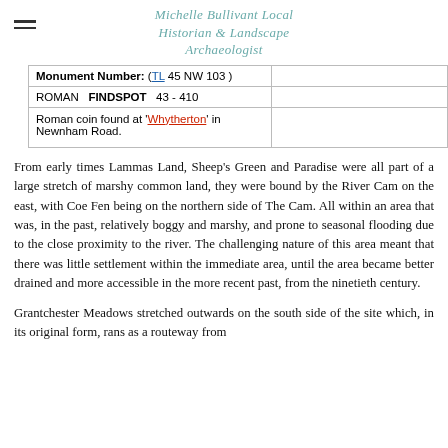Michelle Bullivant Local Historian & Landscape Archaeologist
| Monument Number: ( TL 45 NW 103 ) |  |
| ROMAN   FINDSPOT   43 - 410 |  |
| Roman coin found at 'Whytherton' in Newnham Road. |  |
From early times Lammas Land, Sheep's Green and Paradise were all part of a large stretch of marshy common land, they were bound by the River Cam on the east, with Coe Fen being on the northern side of The Cam. All within an area that was, in the past, relatively boggy and marshy, and prone to seasonal flooding due to the close proximity to the river. The challenging nature of this area meant that there was little settlement within the immediate area, until the area became better drained and more accessible in the more recent past, from the ninetieth century.
Grantchester Meadows stretched outwards on the south side of the site which, in its original form, rans as a routeway from